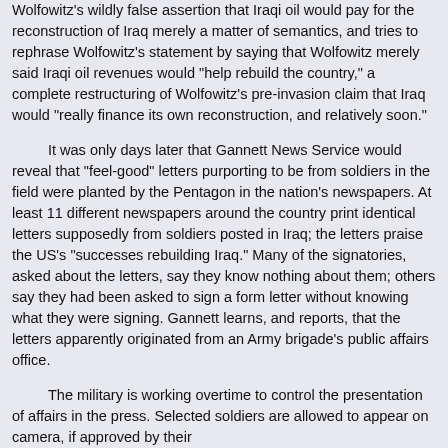Wolfowitz's wildly false assertion that Iraqi oil would pay for the reconstruction of Iraq merely a matter of semantics, and tries to rephrase Wolfowitz's statement by saying that Wolfowitz merely said Iraqi oil revenues would "help rebuild the country," a complete restructuring of Wolfowitz's pre-invasion claim that Iraq would "really finance its own reconstruction, and relatively soon."
It was only days later that Gannett News Service would reveal that "feel-good" letters purporting to be from soldiers in the field were planted by the Pentagon in the nation's newspapers. At least 11 different newspapers around the country print identical letters supposedly from soldiers posted in Iraq; the letters praise the US's "successes rebuilding Iraq." Many of the signatories, asked about the letters, say they know nothing about them; others say they had been asked to sign a form letter without knowing what they were signing. Gannett learns, and reports, that the letters apparently originated from an Army brigade's public affairs office.
The military is working overtime to control the presentation of affairs in the press. Selected soldiers are allowed to appear on camera, if approved by their